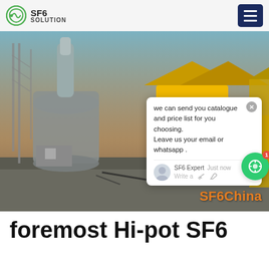SF6 SOLUTION
[Figure (photo): SF6 gas service truck (yellow) parked next to high-voltage electrical equipment at a substation, with SF6China watermark and a chat popup overlay showing message: 'we can send you catalogue and price list for you choosing. Leave us your email or whatsapp .' from SF6 Expert]
foremost Hi-pot SF6